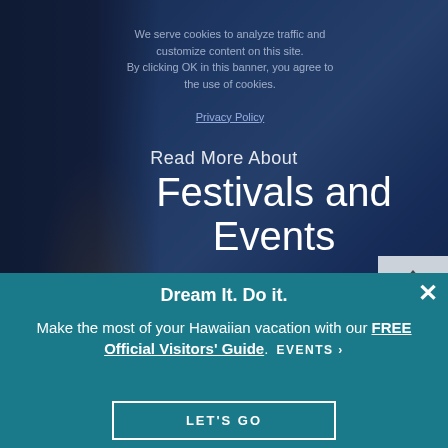We serve cookies to analyze traffic and customize content on this site. By clicking OK in this banner, you agree to the use of cookies.
Privacy Policy
Read More About
Festivals and Events
In Hawaii
BACK TO TOP
Dream It. Do it.
Make the most of your Hawaiian vacation with our FREE Official Visitors' Guide.
EVENTS ›
LET'S GO